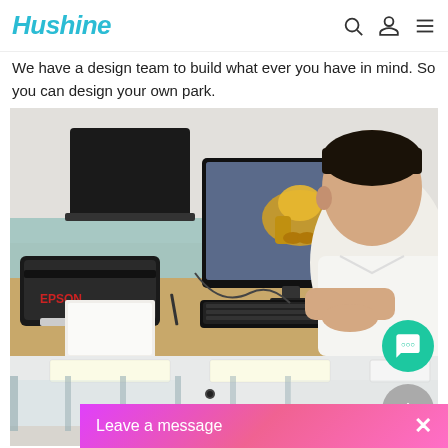Hushine
We have a design team to build what ever you have in mind. So you can design your own park.
[Figure (photo): A person sitting at a desk working on a computer displaying a 3D design of a colorful playground or park figure. An Epson printer is visible to the left. Office setting.]
[Figure (photo): Interior of a modern office with glass partitions and ceiling lights.]
Leave a message